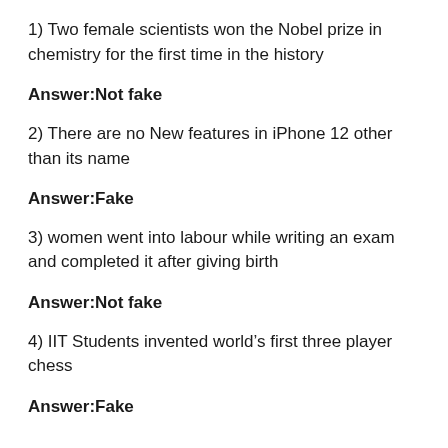1) Two female scientists won the Nobel prize in chemistry for the first time in the history
Answer:Not fake
2) There are no New features in iPhone 12 other than its name
Answer:Fake
3) women went into labour while writing an exam and completed it after giving birth
Answer:Not fake
4) IIT Students invented world’s first three player chess
Answer:Fake